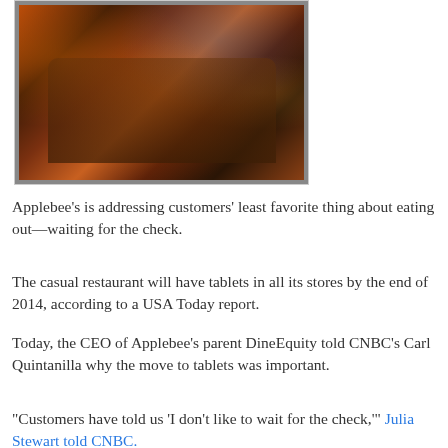[Figure (photo): Interior of an Applebee's restaurant showing customers dining at a booth under dim, colorful lighting with neon signs and TVs visible in the background.]
Applebee's is addressing customers' least favorite thing about eating out—waiting for the check.
The casual restaurant will have tablets in all its stores by the end of 2014, according to a USA Today report.
Today, the CEO of Applebee's parent DineEquity told CNBC's Carl Quintanilla why the move to tablets was important.
"Customers have told us 'I don't like to wait for the check,'" Julia Stewart told CNBC.